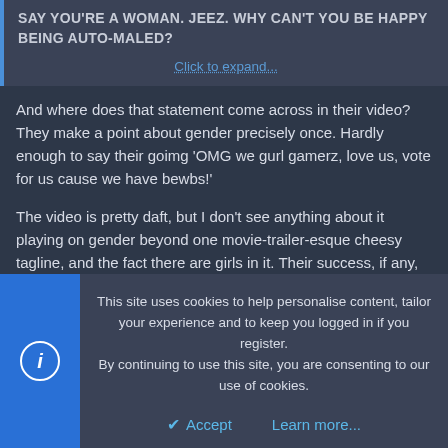SAY YOU'RE A WOMAN. JEEZ. WHY CAN'T YOU BE HAPPY BEING AUTO-MALED?
Click to expand...
And where does that statement come across in their video? They make a point about gender precisely once. Hardly enough to say their goimg 'OMG we gurl gamerz, love us, vote for us cause we have bewbs!'
The video is pretty daft, but I don't see anything about it playing on gender beyond one movie-trailer-esque cheesy tagline, and the fact there are girls in it. Their success, if any, is going to depend on their skills, unless you think the game itself is going to give them free buffs for being ladies.
Something Amyss
Aswyng and Amyss
This site uses cookies to help personalise content, tailor your experience and to keep you logged in if you register.
By continuing to use this site, you are consenting to our use of cookies.
Accept
Learn more...